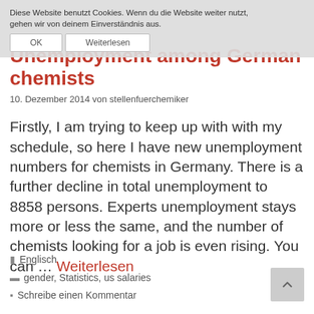Diese Website benutzt Cookies. Wenn du die Website weiter nutzt, gehen wir von deinem Einverständnis aus.
Unemployment among German chemists
10. Dezember 2014 von stellenfuerchemiker
Firstly, I am trying to keep up with with my schedule, so here I have new unemployment numbers for chemists in Germany. There is a further decline in total unemployment to 8858 persons. Experts unemployment stays more or less the same, and the number of chemists looking for a job is even rising. You can … Weiterlesen
Englisch
gender, Statistics, us salaries
Schreibe einen Kommentar